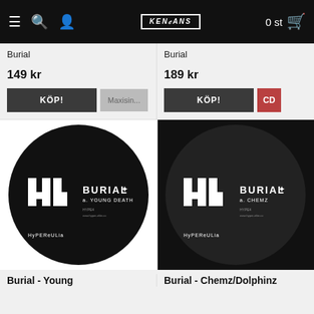Kensans — 0 st
Burial
149 kr
KÖP! | Maxisin...
Burial
189 kr
KÖP! | CD
[Figure (photo): Vinyl record with Hyperulia label showing Burial - Young Death]
[Figure (photo): Vinyl record with Hyperulia label showing Burial - Chemz/Dolphinz]
Burial - Young
Burial - Chemz/Dolphinz